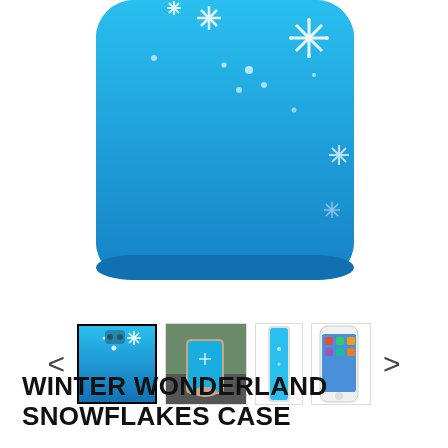[Figure (photo): Main product image: a blue phone case with white snowflake pattern, shown from the back. The case has a gradient blue background with various sized snowflakes scattered across it.]
[Figure (photo): Thumbnail gallery row showing 4 product images: (1) selected thumbnail with black border showing front view of the snowflake case, (2) person holding the case against an outdoor background, (3) side view of the case, (4) phone with case showing screen. Navigation left (<) and right (>) arrows on each side.]
WINTER WONDERLAND SNOWFLAKES CASE